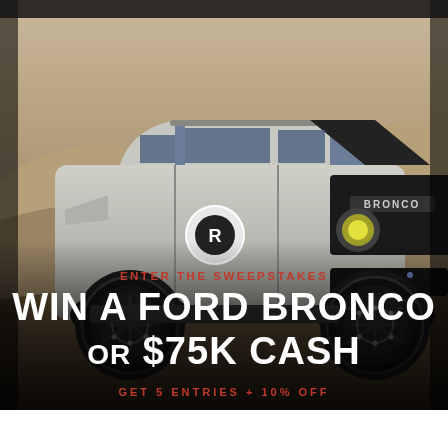[Figure (photo): A silver Ford Bronco SUV with black racing stripes and large off-road tires, parked on sand dunes in a desert setting. The vehicle has custom black wheels and a logo on the door.]
ENTER THE SWEEPSTAKES
WIN A FORD BRONCO OR $75K CASH
GET 5 ENTRIES + 10% OFF